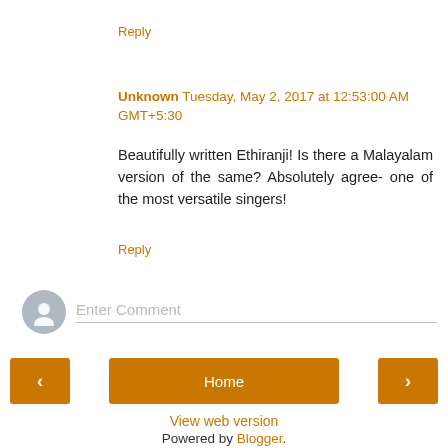Reply
Unknown Tuesday, May 2, 2017 at 12:53:00 AM GMT+5:30
Beautifully written Ethiranji! Is there a Malayalam version of the same? Absolutely agree- one of the most versatile singers!
Reply
Enter Comment
Home
View web version
Powered by Blogger.